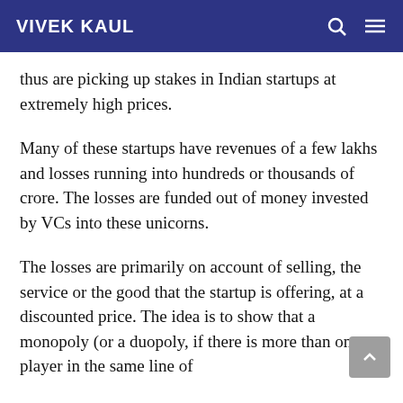VIVEK KAUL
thus are picking up stakes in Indian startups at extremely high prices.
Many of these startups have revenues of a few lakhs and losses running into hundreds or thousands of crore. The losses are funded out of money invested by VCs into these unicorns.
The losses are primarily on account of selling, the service or the good that the startup is offering, at a discounted price. The idea is to show that a monopoly (or a duopoly, if there is more than one player in the same line of